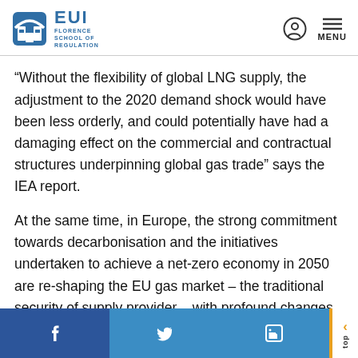EUI Florence School of Regulation
“Without the flexibility of global LNG supply, the adjustment to the 2020 demand shock would have been less orderly, and could potentially have had a damaging effect on the commercial and contractual structures underpinning global gas trade” says the IEA report.
At the same time, in Europe, the strong commitment towards decarbonisation and the initiatives undertaken to achieve a net-zero economy in 2050 are re-shaping the EU gas market – the traditional security of supply provider – with profound changes expected in the next few years at infrastructure, market and governance levels.
Social links: Facebook, Twitter, LinkedIn, top